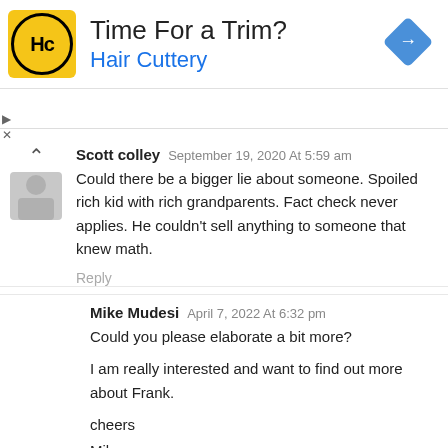[Figure (advertisement): Hair Cuttery advertisement banner with logo showing 'HC' in a circle on yellow background, text 'Time For a Trim?' and 'Hair Cuttery' in blue, and a navigation/directions diamond icon on the right.]
Scott colley   September 19, 2020 At 5:59 am
Could there be a bigger lie about someone. Spoiled rich kid with rich grandparents. Fact check never applies. He couldn't sell anything to someone that knew math.
Reply
Mike Mudesi   April 7, 2022 At 6:32 pm
Could you please elaborate a bit more?

I am really interested and want to find out more about Frank.

cheers
Mike